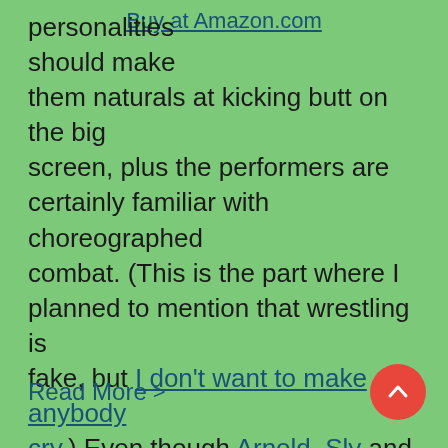Buy at Amazon.com
personalities should make them naturals at kicking butt on the big screen, plus the performers are certainly familiar with choreographed combat. (This is the part where I planned to mention that wrestling is fake, but I don't want to make anybody cry.) Even though Arnold, Sly and their brawny brethren have struggled at the box office recently — and are about 20 years past their heyday — WWE Studios has a sneakily clever thing going with its Marine franchise.
Read More >